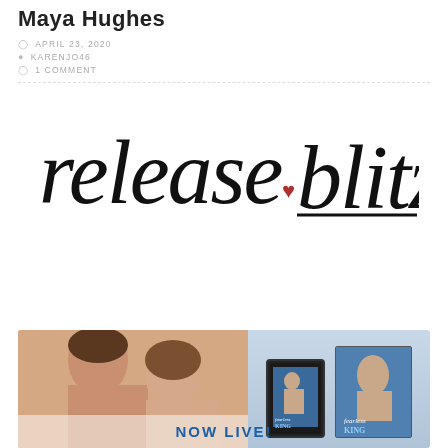Maya Hughes
APRIL 23, 2020
KARENJO46
1 COMMENT
[Figure (illustration): Handwritten-style 'release blitz' text logo with a small red heart between the two words, black script on white background]
[Figure (photo): Book promotional banner showing a romantic couple photo on the left, tablet and physical book covers of 'Fearless King' by Maya Hughes in the center-right, with 'NOW LIVE!' text in blue]